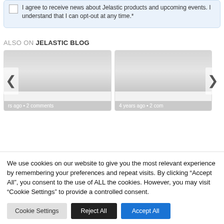I agree to receive news about Jelastic products and upcoming events. I understand that I can opt-out at any time.*
ALSO ON JELASTIC BLOG
[Figure (screenshot): Two blog post cards with gradient placeholder images showing '...rs ago • 2 comments' and '4 years ago • 2 com...' with left and right navigation arrows]
We use cookies on our website to give you the most relevant experience by remembering your preferences and repeat visits. By clicking "Accept All", you consent to the use of ALL the cookies. However, you may visit "Cookie Settings" to provide a controlled consent.
Cookie Settings   Reject All   Accept All